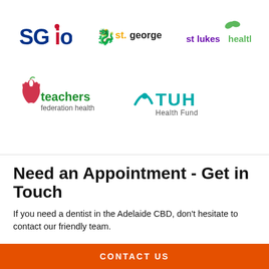[Figure (logo): SGIO logo in blue and red]
[Figure (logo): St.George logo with dragon icon, yellow and black text]
[Figure (logo): St Lukes Health logo in purple and green]
[Figure (logo): Teachers Federation Health logo with red apple, green text]
[Figure (logo): TUH Health Fund logo in teal]
Need an Appointment - Get in Touch
If you need a dentist in the Adelaide CBD, don't hesitate to contact our friendly team.
CONTACT US